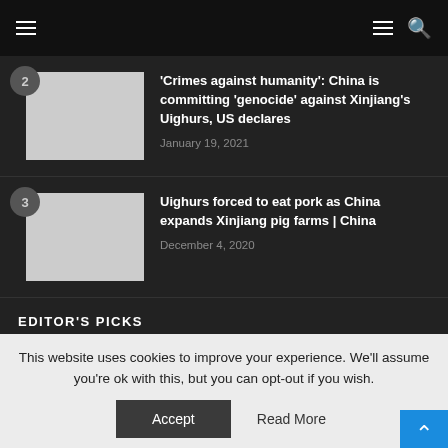Navigation header with hamburger menus and search icon
[Figure (screenshot): Thumbnail image placeholder for article 2]
'Crimes against humanity': China is committing 'genocide' against Xinjiang's Uighurs, US declares
January 19, 2021
[Figure (screenshot): Thumbnail image placeholder for article 3]
Uighurs forced to eat pork as China expands Xinjiang pig farms | China
December 4, 2020
EDITOR'S PICKS
This website uses cookies to improve your experience. We'll assume you're ok with this, but you can opt-out if you wish.